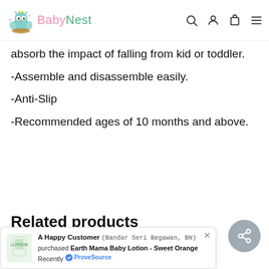BabyNest
absorb the impact of falling from kid or toddler.
-Assemble and disassemble easily.
-Anti-Slip
-Recommended ages of 10 months and above.
Related products
A Happy Customer (Bandar Seri Begawan, BN) purchased Earth Mama Baby Lotion - Sweet Orange Recently ProveSource